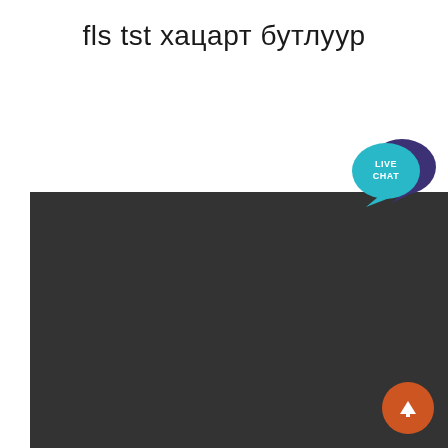fls tst хацарт бутлуур
[Figure (screenshot): Dark gray/charcoal background panel occupying the lower portion of the page, with a live chat button (teal speech bubble with 'LIVE CHAT' text and a dark purple speech bubble behind it) in the upper-right corner, and an orange circular scroll-to-top button with an upward arrow in the lower-right corner.]